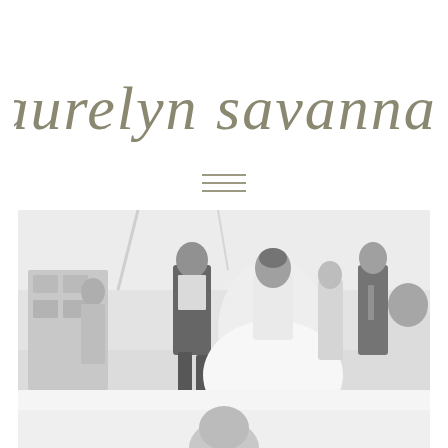laurelyn savannah
[Figure (other): Hamburger menu icon with three horizontal lines]
[Figure (photo): Black and white wedding reception dance floor photo showing bride in white dress dancing with groom, surrounded by wedding guests under a tent]
[Figure (photo): Partial black and white photo, top portion visible showing what appears to be another wedding scene]